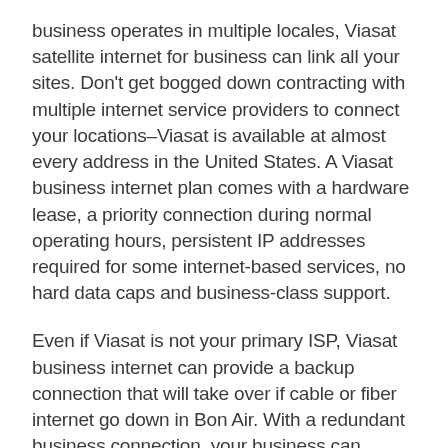business operates in multiple locales, Viasat satellite internet for business can link all your sites. Don't get bogged down contracting with multiple internet service providers to connect your locations–Viasat is available at almost every address in the United States. A Viasat business internet plan comes with a hardware lease, a priority connection during normal operating hours, persistent IP addresses required for some internet-based services, no hard data caps and business-class support.
Even if Viasat is not your primary ISP, Viasat business internet can provide a backup connection that will take over if cable or fiber internet go down in Bon Air. With a redundant business connection, your business can continue to operate cash registers, update data, maintain security and operate master control systems, even if your primary internet provider is down for days. Add a secondary internet connection today to protect your business from the financial losses an internet outage can cause.